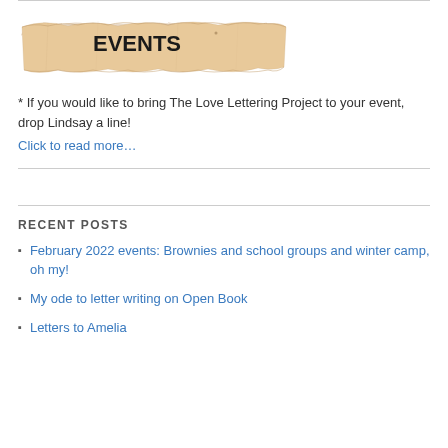[Figure (illustration): Torn paper banner with sandy/beige texture containing the word EVENTS in bold black text]
* If you would like to bring The Love Lettering Project to your event, drop Lindsay a line!
Click to read more...
RECENT POSTS
February 2022 events: Brownies and school groups and winter camp, oh my!
My ode to letter writing on Open Book
Letters to Amelia